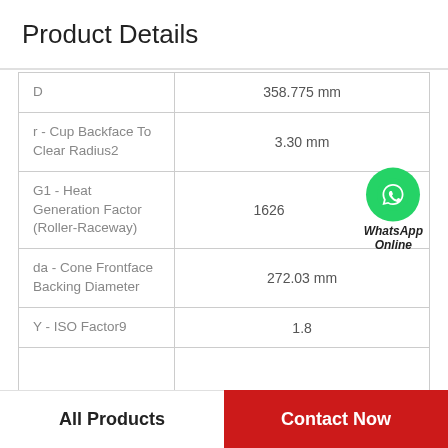Product Details
| D | 358.775 mm |
| r - Cup Backface To Clear Radius2 | 3.30 mm |
| G1 - Heat Generation Factor (Roller-Raceway) | 1626 |
| da - Cone Frontface Backing Diameter | 272.03 mm |
| Y - ISO Factor9 | 1.8 |
|  |  |
[Figure (logo): WhatsApp Online green circle icon with phone handset, labeled WhatsApp Online in bold italic]
All Products
Contact Now